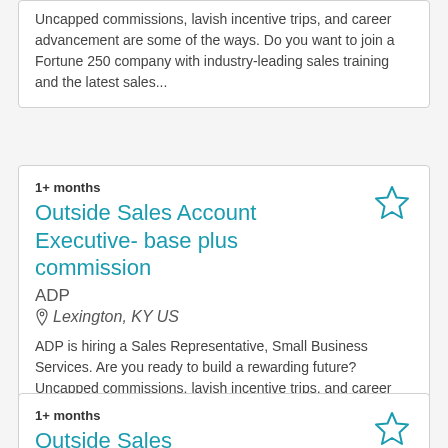Uncapped commissions, lavish incentive trips, and career advancement are some of the ways. Do you want to join a Fortune 250 company with industry-leading sales training and the latest sales...
1+ months
Outside Sales Account Executive- base plus commission
ADP
Lexington, KY US
ADP is hiring a Sales Representative, Small Business Services. Are you ready to build a rewarding future? Uncapped commissions, lavish incentive trips, and career advancement are some of the ways. Do you want to join a Fortune 250 company with industry-leading sales training and the latest sales...
1+ months
Outside Sales